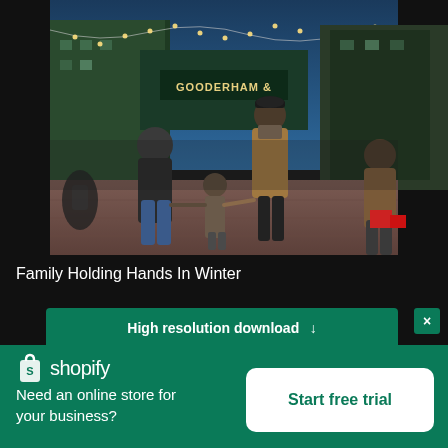[Figure (photo): People walking away from camera in a Christmas market area, sign reading GOODERHAM & visible above entrance with string lights, family holding hands including children, winter coats, cobblestone plaza]
Family Holding Hands In Winter
High resolution download ↓
[Figure (logo): Shopify logo — shopping bag icon with S and the word shopify in white]
Need an online store for your business?
Start free trial